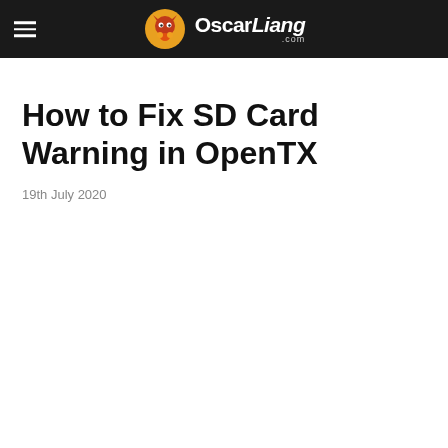OscarLiang.com
How to Fix SD Card Warning in OpenTX
19th July 2020